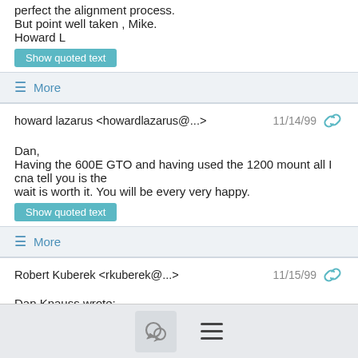perfect the alignment process.
But point well taken , Mike.
Howard L
Show quoted text
More
howard lazarus <howardlazarus@...>   11/14/99
Dan,
Having the 600E GTO and having used the 1200 mount all I cna tell you is the
wait is worth it. You will be every very happy.
Show quoted text
More
Robert Kuberek <rkuberek@...>   11/15/99
Dan Knauss wrote: